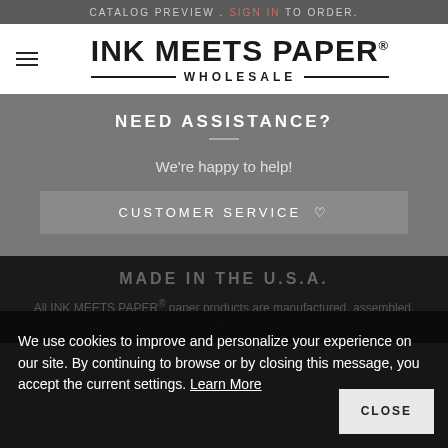CATALOG PREVIEW . SIGN IN TO ORDER.
[Figure (logo): Ink Meets Paper Wholesale logo with hamburger menu icon]
NEED ASSISTANCE?
We're happy to help!
CUSTOMER SERVICE ♡
We use cookies to improve and personalize your experience on our site. By continuing to browse or by closing this message, you accept the current settings. Learn More
MADE IN THE U.S.A.
All INK MEETS PAPER® paper products are manufactured, assembled, and shipped from our studio in sunny South Carolina.